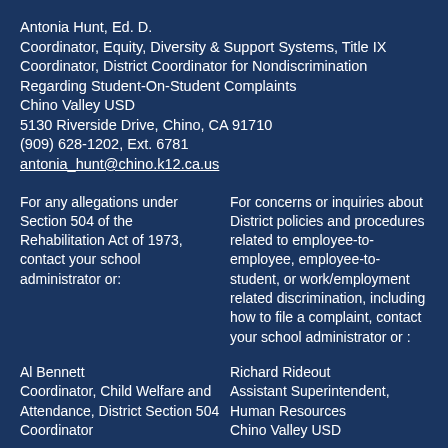Antonia Hunt, Ed. D.
Coordinator, Equity, Diversity & Support Systems, Title IX Coordinator, District Coordinator for Nondiscrimination Regarding Student-On-Student Complaints
Chino Valley USD
5130 Riverside Drive, Chino, CA 91710
(909) 628-1202, Ext. 6781
antonia_hunt@chino.k12.ca.us
For any allegations under Section 504 of the Rehabilitation Act of 1973, contact your school administrator or:
For concerns or inquiries about District policies and procedures related to employee-to-employee, employee-to-student, or work/employment related discrimination, including how to file a complaint, contact your school administrator or :
Al Bennett
Coordinator, Child Welfare and Attendance, District Section 504 Coordinator
Richard Rideout
Assistant Superintendent, Human Resources
Chino Valley USD